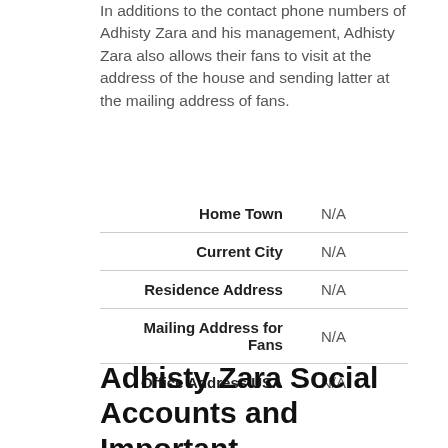In additions to the contact phone numbers of Adhisty Zara and his management, Adhisty Zara also allows their fans to visit at the address of the house and sending latter at the mailing address of fans.
| Home Town | N/A |
| Current City | N/A |
| Residence Address | N/A |
| Mailing Address for Fans | N/A |
| Office Address USA | N/A |
Adhisty Zara Social Accounts and Important Links